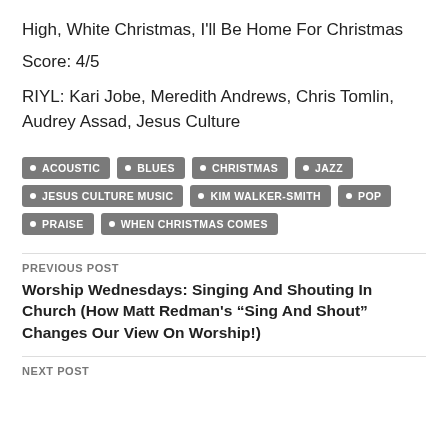High, White Christmas, I'll Be Home For Christmas
Score: 4/5
RIYL: Kari Jobe, Meredith Andrews, Chris Tomlin, Audrey Assad, Jesus Culture
ACOUSTIC
BLUES
CHRISTMAS
JAZZ
JESUS CULTURE MUSIC
KIM WALKER-SMITH
POP
PRAISE
WHEN CHRISTMAS COMES
PREVIOUS POST
Worship Wednesdays: Singing And Shouting In Church (How Matt Redman's “Sing And Shout” Changes Our View On Worship!)
NEXT POST